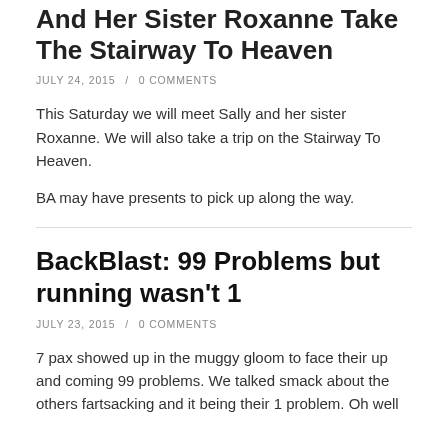And Her Sister Roxanne Take The Stairway To Heaven
JULY 24, 2015  /  0 COMMENTS
This Saturday we will meet Sally and her sister Roxanne. We will also take a trip on the Stairway To Heaven.
BA may have presents to pick up along the way.
BackBlast: 99 Problems but running wasn't 1
JULY 23, 2015  /  0 COMMENTS
7 pax showed up in the muggy gloom to face their up and coming 99 problems. We talked smack about the others fartsacking and it being their 1 problem. Oh well